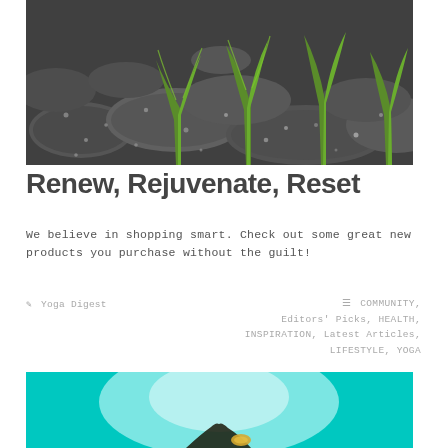[Figure (photo): Black and white photo of wet dark stones with green plant sprouts growing between them]
Renew, Rejuvenate, Reset
We believe in shopping smart. Check out some great new products you purchase without the guilt!
Yoga Digest   COMMUNITY, Editors' Picks, HEALTH, INSPIRATION, Latest Articles, LIFESTYLE, YOGA
[Figure (photo): Teal/turquoise background image with bright white light in center, partial view of a person or object at bottom]